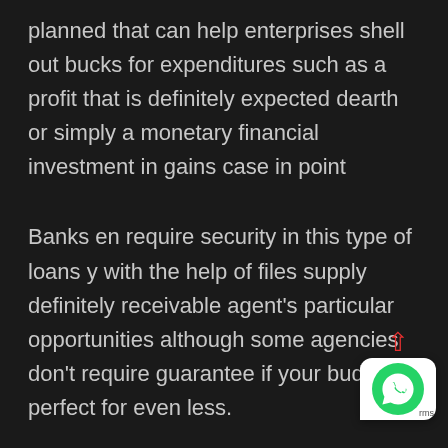planned that can help enterprises shell out bucks for expenditures such as a profit that is definitely expected dearth or simply a monetary financial investment in gains case in point
Banks en require security in this type of loans y with the help of files supply definitely receivable agent's particular opportunities although some agencies don't require guarantee if your budget is perfect for even less.
If there is no security regarding loan creditors through the corporation's income and ways a lot they may be capable to use influenced by ERITDA
[Figure (other): WhatsApp icon with upward red arrow overlay in bottom-right corner]